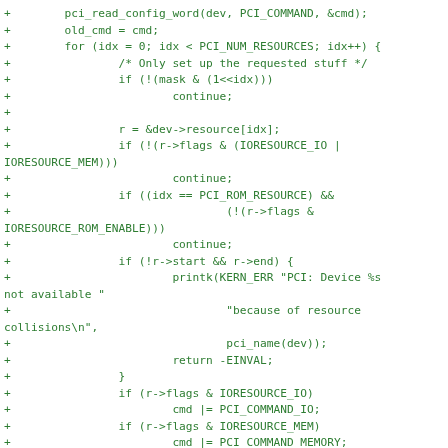+        pci_read_config_word(dev, PCI_COMMAND, &cmd);
+        old_cmd = cmd;
+        for (idx = 0; idx < PCI_NUM_RESOURCES; idx++) {
+                /* Only set up the requested stuff */
+                if (!(mask & (1<<idx)))
+                        continue;
+
+                r = &dev->resource[idx];
+                if (!(r->flags & (IORESOURCE_IO |
IORESORCE_MEM)))
+                        continue;
+                if ((idx == PCI_ROM_RESOURCE) &&
+                                (!(r->flags &
IORESORCE_ROM_ENABLE)))
+                        continue;
+                if (!r->start && r->end) {
+                        printk(KERN_ERR "PCI: Device %s
not available "
+                                "because of resource
collisions\n",
+                                pci_name(dev));
+                        return -EINVAL;
+                }
+                if (r->flags & IORESOURCE_IO)
+                        cmd |= PCI_COMMAND_IO;
+                if (r->flags & IORESOURCE_MEM)
+                        cmd |= PCI_COMMAND_MEMORY;
+
+        }
+        if (cmd != old_cmd) {
+                printk("PCI: Enabling device %s (%04x-